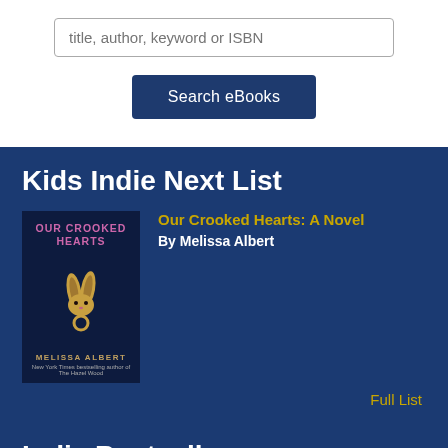title, author, keyword or ISBN
Search eBooks
Kids Indie Next List
[Figure (illustration): Book cover for 'Our Crooked Hearts' by Melissa Albert, dark blue background with a golden rabbit figure and ring]
Our Crooked Hearts: A Novel
By Melissa Albert
Full List
Indie Bestsellers
Knight Owl